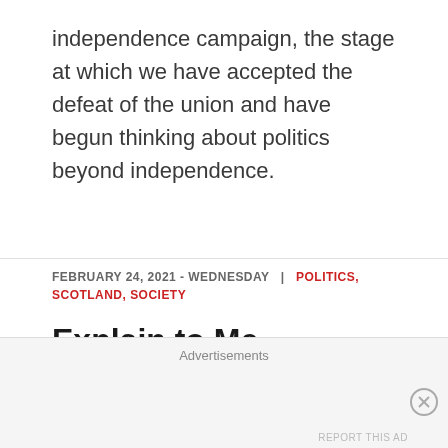independence campaign, the stage at which we have accepted the defeat of the union and have begun thinking about politics beyond independence.
FEBRUARY 24, 2021 - WEDNESDAY  |  POLITICS, SCOTLAND, SOCIETY
Explain to Me
Given that the constitution is a reserved matter under the Scotland Act (1998), only part of the
Advertisements